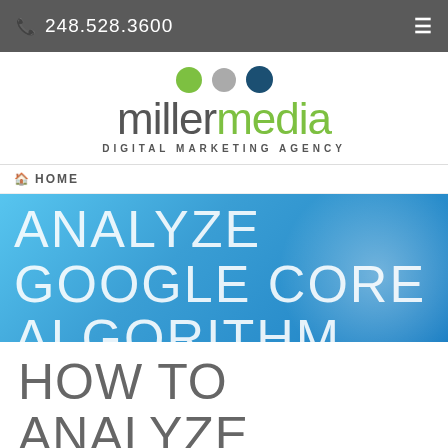248.528.3600
[Figure (logo): Miller Media Digital Marketing Agency logo with three dots (green, gray, navy) above the wordmark]
HOME
ANALYZE GOOGLE CORE ALGORITHM
HOW TO ANALYZE